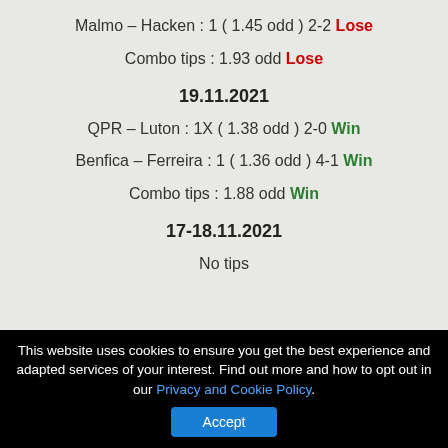Malmo – Hacken : 1 ( 1.45 odd ) 2-2 Lose
Combo tips : 1.93 odd Lose
19.11.2021
QPR – Luton : 1X ( 1.38 odd ) 2-0 Win
Benfica – Ferreira : 1 ( 1.36 odd ) 4-1 Win
Combo tips : 1.88 odd Win
17-18.11.2021
No tips
This website uses cookies to ensure you get the best experience and adapted services of your interest. Find out more and how to opt out in our Privacy and Cookie Policy. Accept